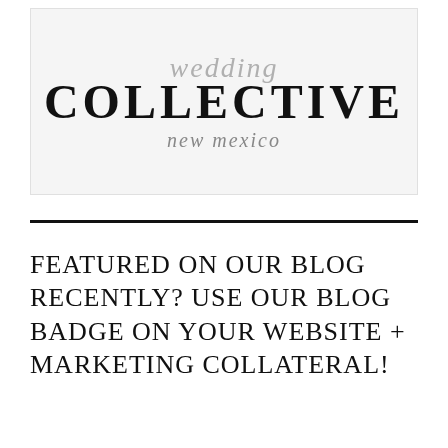[Figure (logo): Wedding Collective New Mexico logo — script 'wedding' above bold serif 'COLLECTIVE' and italic script 'new mexico' below, on a light gray background]
FEATURED ON OUR BLOG RECENTLY? USE OUR BLOG BADGE ON YOUR WEBSITE + MARKETING COLLATERAL!